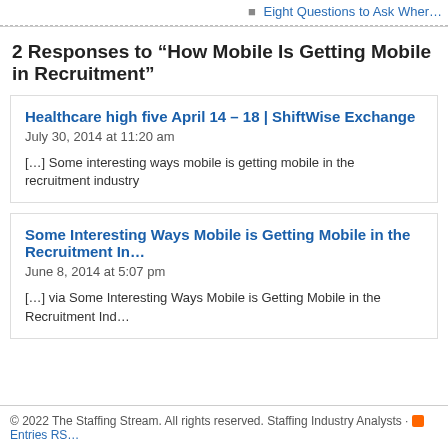Eight Questions to Ask Wher…
2 Responses to “How Mobile Is Getting Mobile in Recruitment”
Healthcare high five April 14 – 18 | ShiftWise Exchange
July 30, 2014 at 11:20 am
[…] Some interesting ways mobile is getting mobile in the recruitment industry
Some Interesting Ways Mobile is Getting Mobile in the Recruitment In…
June 8, 2014 at 5:07 pm
[…] via Some Interesting Ways Mobile is Getting Mobile in the Recruitment Ind…
© 2022 The Staffing Stream. All rights reserved. Staffing Industry Analysts · Entries RS…